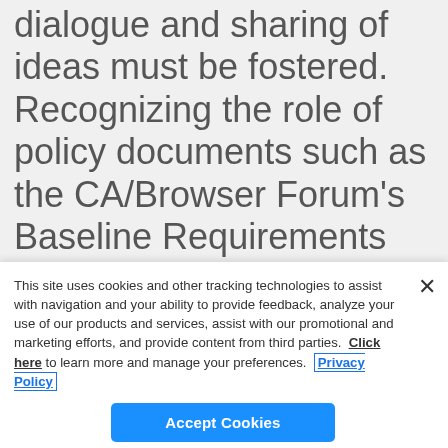dialogue and sharing of ideas must be fostered. Recognizing the role of policy documents such as the CA/Browser Forum's Baseline Requirements as the cornerstone of internet security, we are highly supportive of open discussion and continuous improvement to
This site uses cookies and other tracking technologies to assist with navigation and your ability to provide feedback, analyze your use of our products and services, assist with our promotional and marketing efforts, and provide content from third parties.  Click here to learn more and manage your preferences.  Privacy Policy
Accept Cookies